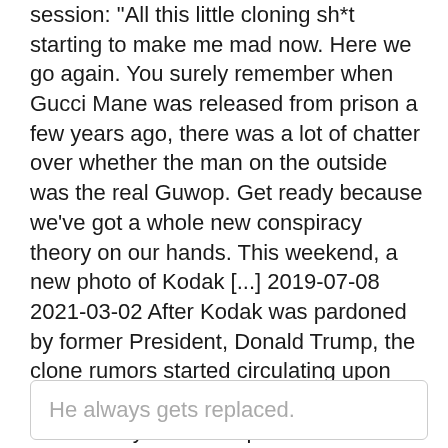session: "All this little cloning sh*t starting to make me mad now. Here we go again. You surely remember when Gucci Mane was released from prison a few years ago, there was a lot of chatter over whether the man on the outside was the real Guwop. Get ready because we've got a whole new conspiracy theory on our hands. This weekend, a new photo of Kodak [...] 2019-07-08 2021-03-02 After Kodak was pardoned by former President, Donald Trump, the clone rumors started circulating upon Kodak's release. Kodak is no stranger to controversy and even poked fun at himself as fans have questioned if he was even the real version since he lost so much weight while incarcerated.
He always gets replaced.